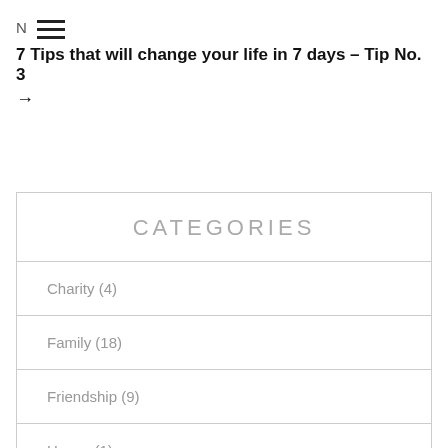N ☰
7 Tips that will change your life in 7 days – Tip No. 3 →
CATEGORIES
Charity (4)
Family (18)
Friendship (9)
Happy (1)
Health (56)